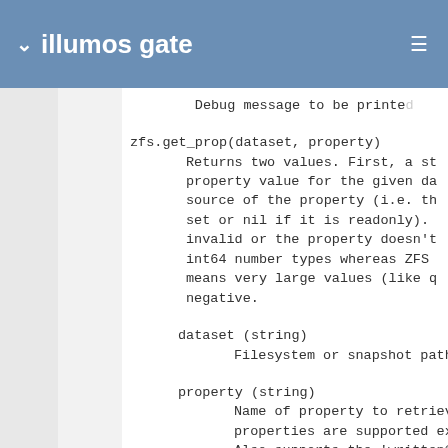illumos gate
Debug message to be printed
zfs.get_prop(dataset, property)
    Returns two values. First, a string containing the property value for the given dataset. Second, the source of the property (i.e. the dataset where it was set or nil if it is readonly). Returns nil if the dataset is invalid or the property doesn't exist. Note: Lua uses int64 number types whereas ZFS uses uint64, which means very large values (like quota) may appear negative.

    dataset (string)
        Filesystem or snapshot path

    property (string)
        Name of property to retrieve. Most native properties are supported except write-only properties. Also supports the 'written@'
dataset (string)
Filesystem or snapshot path
property (string)
Name of property to retrieve. Most native properties are supported except write-only properties. Also supports the 'written@'